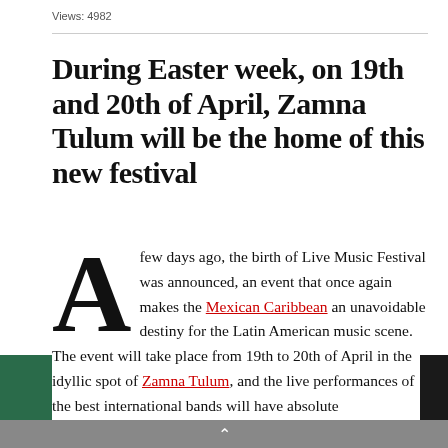Views: 4982
During Easter week, on 19th and 20th of April, Zamna Tulum will be the home of this new festival
A few days ago, the birth of Live Music Festival was announced, an event that once again makes the Mexican Caribbean an unavoidable destiny for the Latin American music scene. The event will take place from 19th to 20th of April in the idyllic spot of Zamna Tulum, and the live performances of the best international bands will have absolute